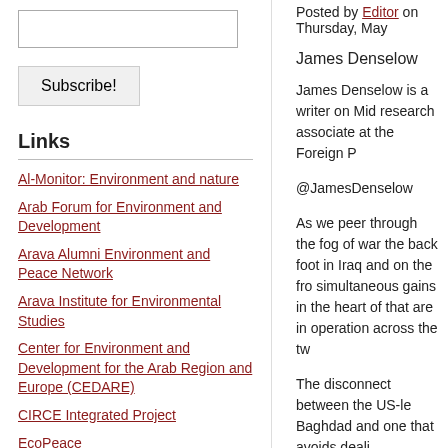[search box]
Subscribe!
Links
Al-Monitor: Environment and nature
Arab Forum for Environment and Development
Arava Alumni Environment and Peace Network
Arava Institute for Environmental Studies
Center for Environment and Development for the Arab Region and Europe (CEDARE)
CIRCE Integrated Project
EcoPeace
Eilat / Eilot Renewable Energy
Euro-Mediterranean Information
Posted by Editor on Thursday, May
James Denselow
James Denselow is a writer on Mid research associate at the Foreign P
@JamesDenselow
As we peer through the fog of war the back foot in Iraq and on the fro simultaneous gains in the heart of that are in operation across the tw
The disconnect between the US-le Baghdad and one that avoids deali momentum as the Iraqi army pushe strategy is agreed for the two coun incoherence in such a dual approa Arid Middle East becoming rapidly
One key element that unites the tw moment is the Euphrates River, a 2 seeming permanence dwarfs the w banks.